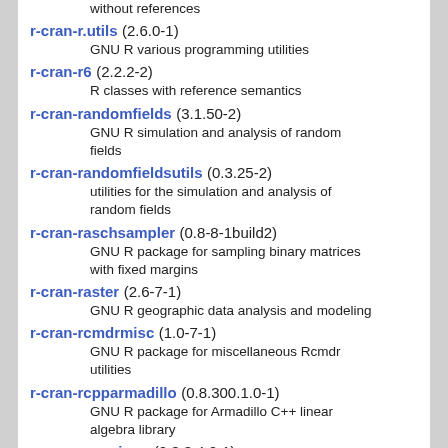without references
r-cran-r.utils (2.6.0-1)
GNU R various programming utilities
r-cran-r6 (2.2.2-2)
R classes with reference semantics
r-cran-randomfields (3.1.50-2)
GNU R simulation and analysis of random fields
r-cran-randomfieldsutils (0.3.25-2)
utilities for the simulation and analysis of random fields
r-cran-raschsampler (0.8-8-1build2)
GNU R package for sampling binary matrices with fixed margins
r-cran-raster (2.6-7-1)
GNU R geographic data analysis and modeling
r-cran-rcmdrmisc (1.0-7-1)
GNU R package for miscellaneous Rcmdr utilities
r-cran-rcpparmadillo (0.8.300.1.0-1)
GNU R package for Armadillo C++ linear algebra library
r-cran-rcppeigen (0.3.3.4.0-1)
GNU R package for Eigen templated linear algebra
r-cran-rcppgsl (0.3.3-1)
GNU R package for integration with the GNU GSL